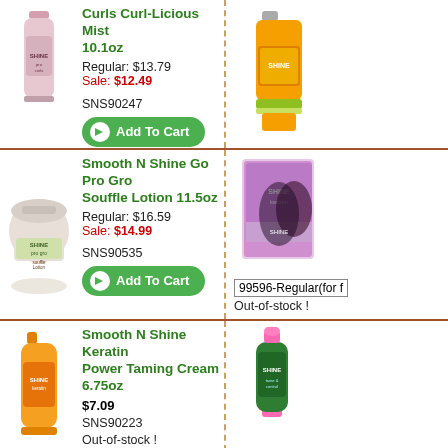[Figure (photo): Smooth N Shine Curls Curl-Licious Mist bottle (pink/clear spray bottle)]
Curls Curl-Licious Mist 10.1oz
Regular: $13.79
Sale: $12.49
SNS90247
Add To Cart
[Figure (photo): Smooth N Shine product bottle (green and orange squeeze bottle)]
[Figure (photo): Smooth N Shine Go Pro Gro Souffle Lotion jar (white jar with pink/green label)]
Smooth N Shine Go Pro Gro Souffle Lotion 11.5oz
Regular: $16.59
Sale: $14.99
SNS90535
Add To Cart
[Figure (photo): Smooth N Shine Keratin product box (pink/purple box with woman with long hair)]
99596-Regular(for f
Out-of-stock !
[Figure (photo): Smooth N Shine Keratin Power Taming Cream orange spray can]
Smooth N Shine Keratin Power Taming Cream 6.75oz
$7.09
SNS90223
Out-of-stock !
[Figure (photo): Smooth N Shine product bottle (green bottle with pink pump)]